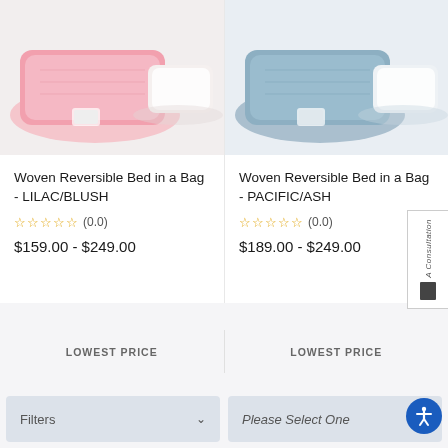[Figure (photo): Pink/blush folded comforter and pillow set on light background]
Woven Reversible Bed in a Bag - LILAC/BLUSH
☆☆☆☆☆ (0.0)
$159.00 - $249.00
[Figure (photo): Blue/grey folded comforter and pillow set on light background]
Woven Reversible Bed in a Bag - PACIFIC/ASH
☆☆☆☆☆ (0.0)
$189.00 - $249.00
LOWEST PRICE
LOWEST PRICE
Filters
Please Select One